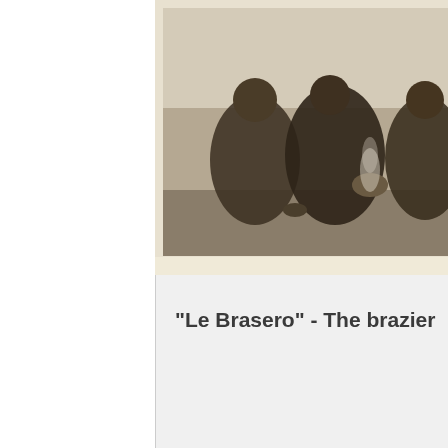[Figure (photo): Stereoscopic photograph showing figures in dark cloaks huddled around what appears to be a brazier or fire, in an outdoor winter setting. The same image appears twice side by side as a stereoscopic pair. A small caption below reads '2801, Le Brasero.']
"Le Brasero" - The brazier
🔍 View Details
No Comments